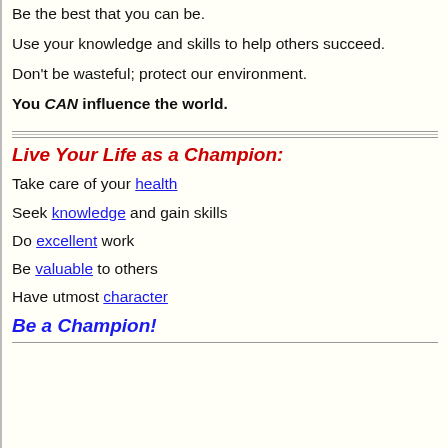Be the best that you can be.
Use your knowledge and skills to help others succeed.
Don't be wasteful; protect our environment.
You CAN influence the world.
Live Your Life as a Champion:
Take care of your health
Seek knowledge and gain skills
Do excellent work
Be valuable to others
Have utmost character
Be a Champion!